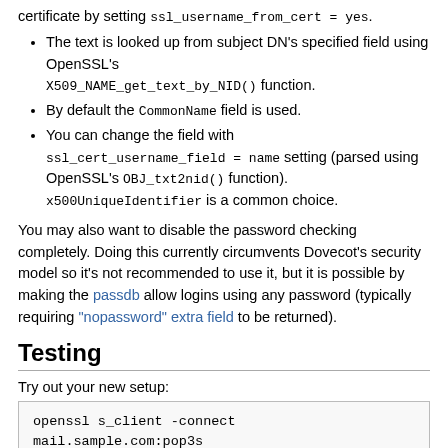certificate by setting ssl_username_from_cert = yes.
The text is looked up from subject DN's specified field using OpenSSL's X509_NAME_get_text_by_NID() function.
By default the CommonName field is used.
You can change the field with ssl_cert_username_field = name setting (parsed using OpenSSL's OBJ_txt2nid() function). x500UniqueIdentifier is a common choice.
You may also want to disable the password checking completely. Doing this currently circumvents Dovecot's security model so it's not recommended to use it, but it is possible by making the passdb allow logins using any password (typically requiring "nopassword" extra field to be returned).
Testing
Try out your new setup:
openssl s_client -connect
mail.sample.com:pop3s